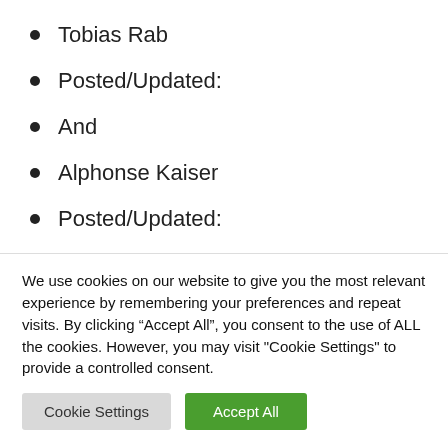Tobias Rab
Posted/Updated:
And
Alphonse Kaiser
Posted/Updated:
We use cookies on our website to give you the most relevant experience by remembering your preferences and repeat visits. By clicking “Accept All”, you consent to the use of ALL the cookies. However, you may visit "Cookie Settings" to provide a controlled consent.